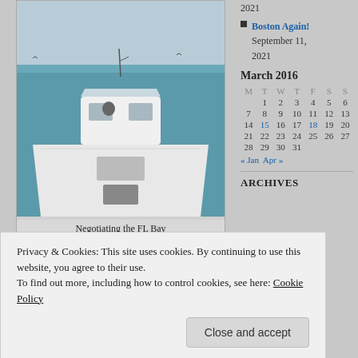[Figure (photo): View from front of a white motorboat on a calm sea with blue-green water and a light overcast sky]
Negotiating the FL Bay
[Figure (photo): Flat calm sea with birds on the water and a pale blue sky]
2021
Boston Again! September 11, 2021
March 2016
| M | T | W | T | F | S | S |
| --- | --- | --- | --- | --- | --- | --- |
|  | 1 | 2 | 3 | 4 | 5 | 6 |
| 7 | 8 | 9 | 10 | 11 | 12 | 13 |
| 14 | 15 | 16 | 17 | 18 | 19 | 20 |
| 21 | 22 | 23 | 24 | 25 | 26 | 27 |
| 28 | 29 | 30 | 31 |  |  |  |
« Jan   Apr »
ARCHIVES
Privacy & Cookies: This site uses cookies. By continuing to use this website, you agree to their use.
To find out more, including how to control cookies, see here: Cookie Policy
Close and accept
Ossining!